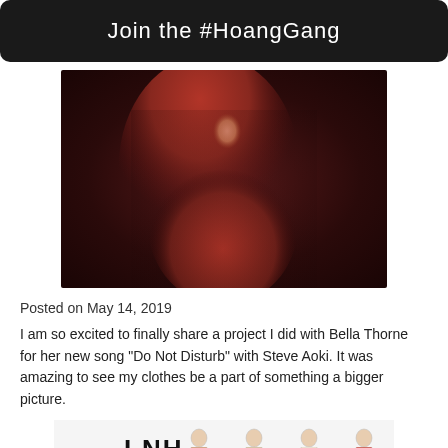Join the #HoangGang
[Figure (photo): A woman with long red hair wearing a red off-shoulder top, posed dramatically against a dark background]
Posted on May 14, 2019
I am so excited to finally share a project I did with Bella Thorne for her new song "Do Not Disturb" with Steve Aoki. It was amazing to see my clothes be a part of something a bigger picture.
[Figure (illustration): Fashion sketch illustration showing LNH label with Bella Thorne designs, featuring multiple figure drawings of women in various outfits. Shows logo 'LNH' and text 'Bella Thorne' with 'Look 1' label at bottom.]